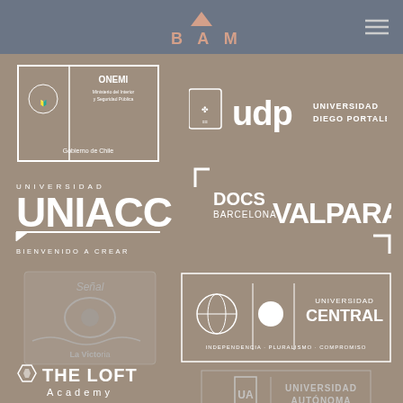[Figure (logo): BAM logo with triangle and text in salmon/pink color on gray header bar]
[Figure (logo): ONEMI - Ministerio del Interior y Seguridad Publica, Gobierno de Chile logo in white]
[Figure (logo): UDP Universidad Diego Portales logo in white]
[Figure (logo): UNIACC Universidad - Bienvenido a Crear logo in white]
[Figure (logo): DOCS Barcelona Valparaiso logo in white]
[Figure (logo): Señal 3 La Victoria logo]
[Figure (logo): Universidad Central - Independencia Pluralismo Compromiso logo in white]
[Figure (logo): Universidad Autonoma de Chile logo in white/gray]
[Figure (logo): The Loft Academy logo in white]
[Figure (logo): Fundacion Vicente Huidobro logo in white/gray]